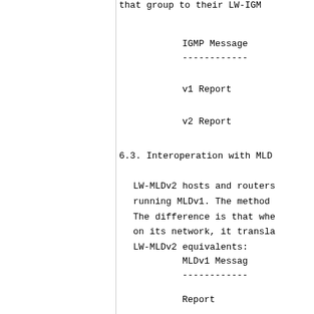that group to their LW-IGM
IGMP Message
------------
v1 Report
v2 Report
6.3.  Interoperation with MLD
LW-MLDv2 hosts and routers running MLDv1.  The method The difference is that whe on its network, it transla LW-MLDv2 equivalents:
MLDv1 Messag
------------
Report